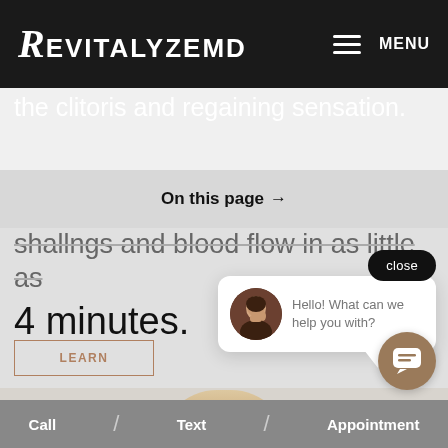RevitalizeMD — MENU
treatment focused on rejuvenating the clitoris and regaining sensation.
On this page →
shallngs and blood flow in as little as 4 minutes.
close
[Figure (screenshot): Chat popup with avatar of woman on phone. Text reads: Hello! What can we help you with?]
Call / Text / Appointment